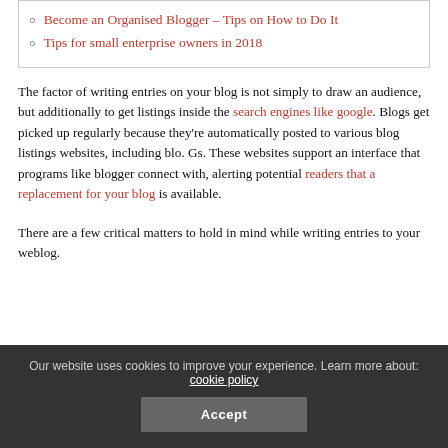Become an Organised Blogger – Tips on How to Do It
Tips for small enterprise owners in 2018
The factor of writing entries on your blog is not simply to draw an audience, but additionally to get listings inside the search engines like google. Blogs get picked up regularly because they're automatically posted to various blog listings websites, including blo. Gs. These websites support an interface that programs like blogger connect with, alerting potential readers that a replacement for your blog is available.
There are a few critical matters to hold in mind while writing entries to your weblog.
Our website uses cookies to improve your experience. Learn more about: cookie policy Accept